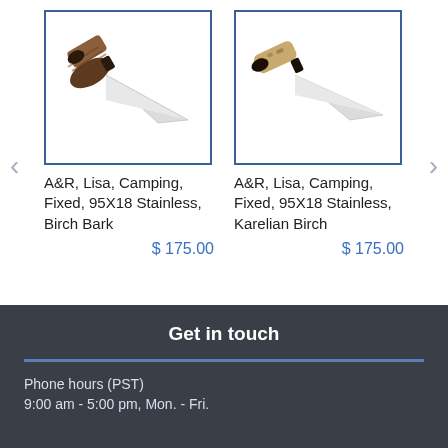[Figure (photo): Knife with birch bark handle, showing a fixed blade camping knife]
A&R, Lisa, Camping, Fixed, 95X18 Stainless, Birch Bark
$ 175.00
[Figure (photo): Knife with Karelian birch handle, showing a fixed blade camping knife]
A&R, Lisa, Camping, Fixed, 95X18 Stainless, Karelian Birch
$ 175.00
Get in touch
Phone hours (PST)
9:00 am - 5:00 pm, Mon. - Fri.